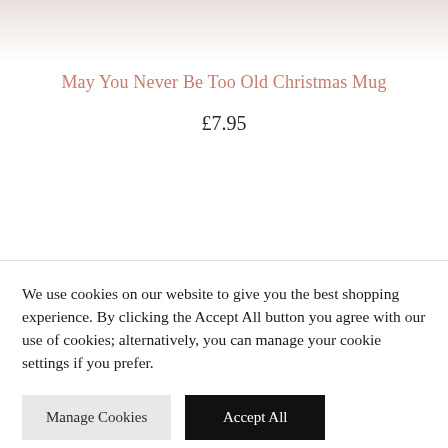[Figure (photo): Partial product image at top of page, showing a light pinkish-white surface, likely the top of a Christmas mug.]
May You Never Be Too Old Christmas Mug
£7.95
We use cookies on our website to give you the best shopping experience. By clicking the Accept All button you agree with our use of cookies; alternatively, you can manage your cookie settings if you prefer.
Manage Cookies
Accept All